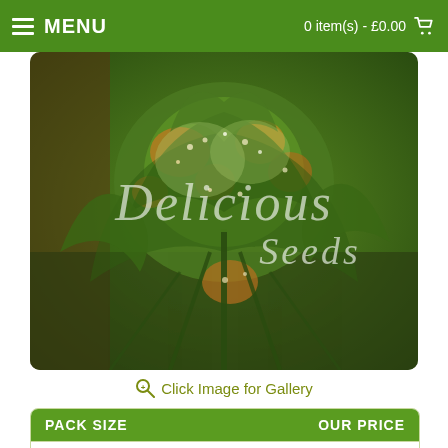MENU   0 item(s) - £0.00
[Figure (photo): Close-up macro photo of cannabis plant buds with green leaves and orange trichomes, watermarked with 'Delicious Seeds' in italic script]
Click Image for Gallery
| PACK SIZE | OUR PRICE |
| --- | --- |
| 3 Pack - Feminized | £18.00 |
| 5 Pack - Feminized | £31.00 |